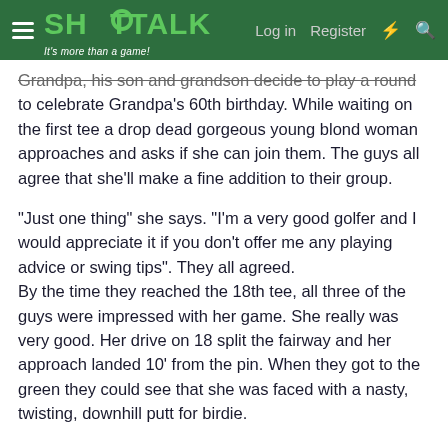SHOTTALK - It's more than a game! | Log in | Register
Grandpa, his son and grandson decide to play a round to celebrate Grandpa's 60th birthday. While waiting on the first tee a drop dead gorgeous young blond woman approaches and asks if she can join them. The guys all agree that she'll make a fine addition to their group.
"Just one thing" she says. "I'm a very good golfer and I would appreciate it if you don't offer me any playing advice or swing tips". They all agreed.
By the time they reached the 18th tee, all three of the guys were impressed with her game. She really was very good. Her drive on 18 split the fairway and her approach landed 10' from the pin. When they got to the green they could see that she was faced with a nasty, twisting, downhill putt for birdie.
She looked at the 3 guys and said "I know I asked you